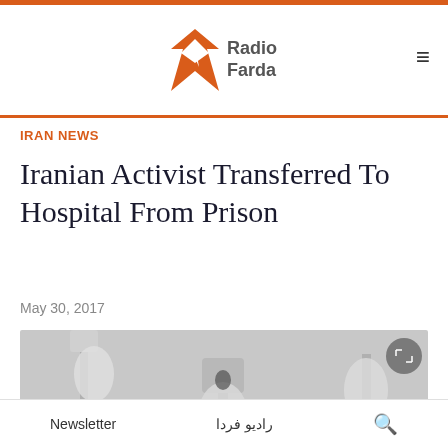Radio Farda
IRAN NEWS
Iranian Activist Transferred To Hospital From Prison
May 30, 2017
[Figure (photo): Blurred black and white photo of what appear to be medical IV drip stands or medical equipment]
Newsletter  رادیو فردا  🔍